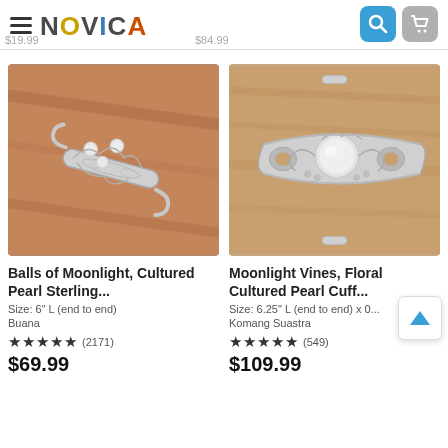[Figure (screenshot): NOVICA e-commerce website header with hamburger menu, NOVICA logo, search and cart icons, and partial prices $19.99 and $84.99 visible]
[Figure (photo): Silver cuff bracelet with cultured pearl details on terracotta/stone background]
Balls of Moonlight, Cultured Pearl Sterling...
Size: 6" L (end to end)
Buana
★★★★★ (2171)
$69.99
[Figure (photo): Wide silver cuff bracelet with large central cultured pearl and floral vine motifs on wood background]
Moonlight Vines, Floral Cultured Pearl Cuff...
Size: 6.25" L (end to end) x 0...
Komang Suastra
★★★★★ (549)
$109.99